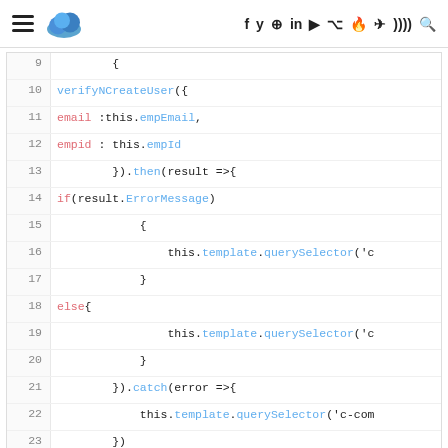Navigation header with hamburger menu, cloud logo, and social icons
[Figure (screenshot): Code snippet showing JavaScript lines 9-25 with syntax highlighting. Lines show verifyNCreateUser function call with email and empid params, then/catch chaining with if/else blocks using this.template.querySelector calls.]